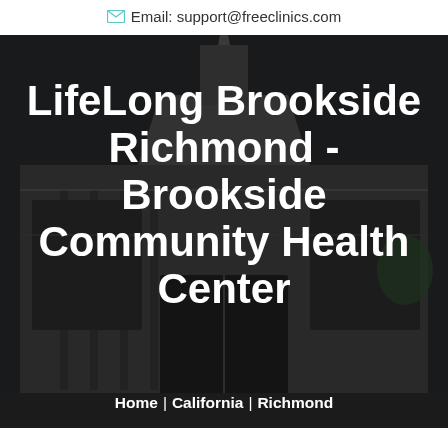Email: support@freeclinics.com
LifeLong Brookside Richmond - Brookside Community Health Center
[Figure (photo): Exterior photo of a modern community health center building with dark gray facade, large windows, and architectural roofline detail. The image is darkened/overlaid to provide contrast for the white title text.]
Home | California | Richmond